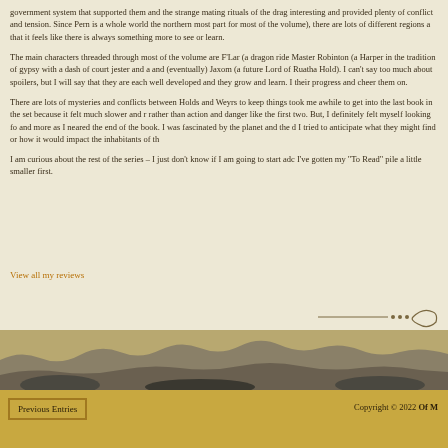government system that supported them and the strange mating rituals of the drag interesting and provided plenty of conflict and tension. Since Pern is a whole world the northern most part for most of the volume), there are lots of different regions a that it feels like there is always something more to see or learn.
The main characters threaded through most of the volume are F'Lar (a dragon ride Master Robinton (a Harper in the tradition of gypsy with a dash of court jester and a and (eventually) Jaxom (a future Lord of Ruatha Hold). I can't say too much about spoilers, but I will say that they are each well developed and they grow and learn. I their progress and cheer them on.
There are lots of mysteries and conflicts between Holds and Weyrs to keep things took me awhile to get into the last book in the set because it felt much slower and r rather than action and danger like the first two. But, I definitely felt myself looking fo and more as I neared the end of the book. I was fascinated by the planet and the d I tried to anticipate what they might find or how it would impact the inhabitants of th
I am curious about the rest of the series – I just don't know if I am going to start adc I've gotten my "To Read" pile a little smaller first.
View all my reviews
[Figure (illustration): Decorative landscape strip showing silhouetted terrain at bottom of page content area]
Previous Entries    Copyright © 2022 Of M